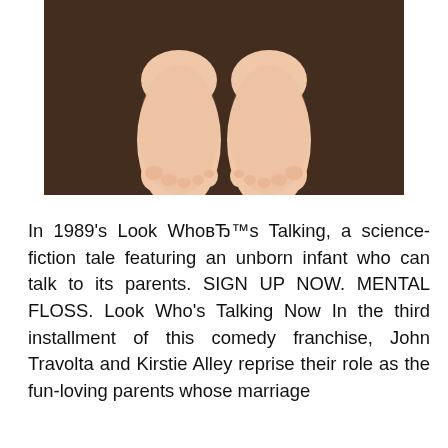[Figure (photo): Close-up photograph of bare human feet (toes visible) standing on a dark brown textured carpet/rug, viewed from above.]
In 1989's Look WhoвЂ™s Talking, a science-fiction tale featuring an unborn infant who can talk to its parents. SIGN UP NOW. MENTAL FLOSS. Look Who's Talking Now In the third installment of this comedy franchise, John Travolta and Kirstie Alley reprise their role as the fun-loving parents whose marriage